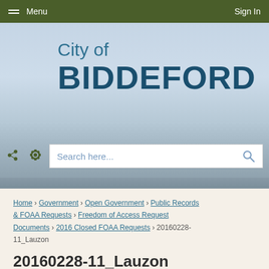Menu   Sign In
[Figure (screenshot): City of Biddeford website header with logo text showing 'City of BIDDEFORD' over a blue sky and ocean background]
Search here...
Home › Government › Open Government › Public Records & FOAA Requests › Freedom of Access Request Documents › 2016 Closed FOAA Requests › 20160228-11_Lauzon
20160228-11_Lauzon